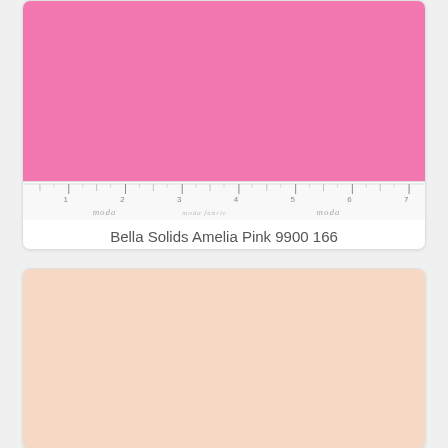[Figure (photo): Pink fabric swatch with Moda ruler at bottom showing inches 1-7, labeled Bella Solids Amelia Pink 9900 166]
Bella Solids Amelia Pink 9900 166
$7.99
[Figure (photo): Peach/light pink solid fabric swatch]